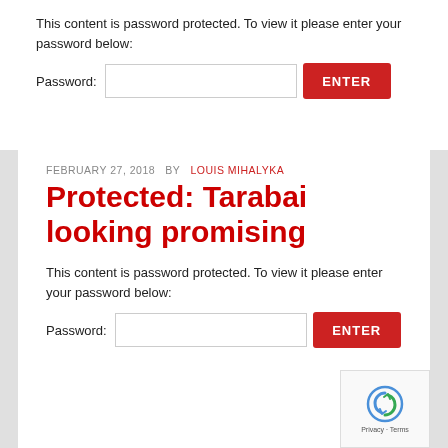This content is password protected. To view it please enter your password below:
Password: [input] ENTER
FEBRUARY 27, 2018  BY  LOUIS MIHALYKA
Protected: Tarabai looking promising
This content is password protected. To view it please enter your password below:
Password: [input] ENTER